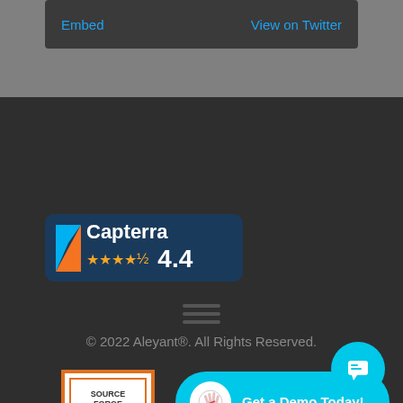Embed
View on Twitter
[Figure (logo): Capterra badge with rating 4.4 and 4.5 stars on dark blue background]
[Figure (other): Hamburger menu icon (three horizontal lines)]
© 2022 Aleyant®. All Rights Reserved.
[Figure (other): Get a Demo Today! button in cyan/turquoise with waving hand icon]
[Figure (logo): SourceForge Customers Love Us badge]
[Figure (other): Chat button (cyan circle with chat icon)]